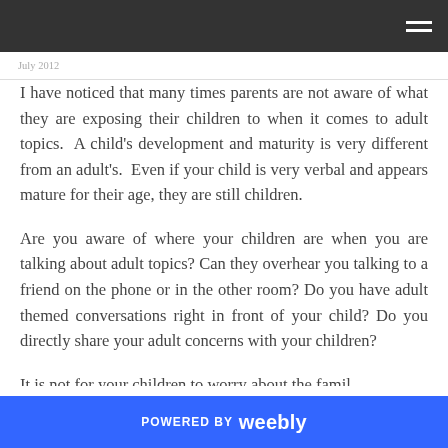I have noticed that many times parents are not aware of what they are exposing their children to when it comes to adult topics.  A child's development and maturity is very different from an adult's.  Even if your child is very verbal and appears mature for their age, they are still children.
Are you aware of where your children are when you are talking about adult topics? Can they overhear you talking to a friend on the phone or in the other room? Do you have adult themed conversations right in front of your child? Do you directly share your adult concerns with your children?
It is not for your children to worry about the famil...
POWERED BY weebly